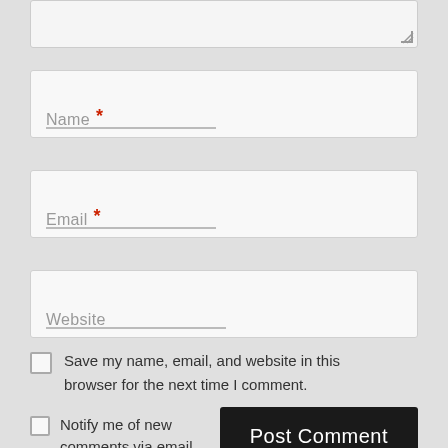[Figure (screenshot): Partial textarea input field at top of page, showing bottom edge with resize handle]
Name *
Email *
Website
Save my name, email, and website in this browser for the next time I comment.
Notify me of new comments via email.
Post Comment